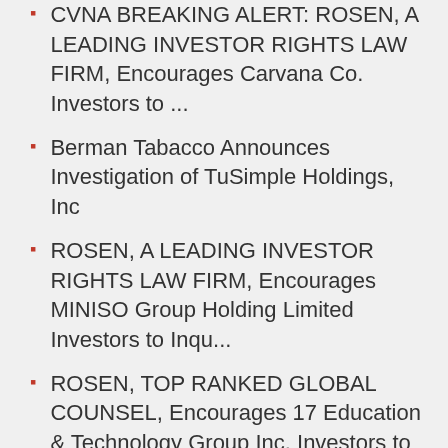CVNA BREAKING ALERT: ROSEN, A LEADING INVESTOR RIGHTS LAW FIRM, Encourages Carvana Co. Investors to ...
Berman Tabacco Announces Investigation of TuSimple Holdings, Inc
ROSEN, A LEADING INVESTOR RIGHTS LAW FIRM, Encourages MINISO Group Holding Limited Investors to Inqu...
ROSEN, TOP RANKED GLOBAL COUNSEL, Encourages 17 Education & Technology Group Inc. Investors to Secur...
ET FINAL DEADLINE TODAY: ROSEN, RESPECTED INVESTOR COUNSEL, Encourages Energy Transfer LP Investors ...
XRAY FINAL DEADLINE ALERT: ROSEN, NATIONAL TRIAL LAWYERS, Encourages DENTSPLY SIRONA Inc. Investors ...
LMPX FINAL DEADLINE ALERT: ROSEN, TRUSTED NATIONAL TRIAL COUNSEL...